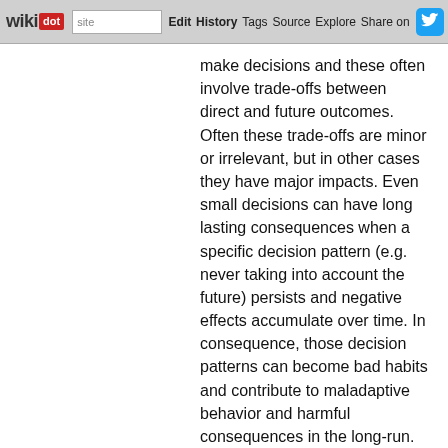wikidot | site | Edit | History | Tags | Source | Explore | Share on [twitter]
make decisions and these often involve trade-offs between direct and future outcomes. Often these trade-offs are minor or irrelevant, but in other cases they have major impacts. Even small decisions can have long lasting consequences when a specific decision pattern (e.g. never taking into account the future) persists and negative effects accumulate over time. In consequence, those decision patterns can become bad habits and contribute to maladaptive behavior and harmful consequences in the long-run. An example for such a trade-off is the decision between c(going out with friends, playing a video game,